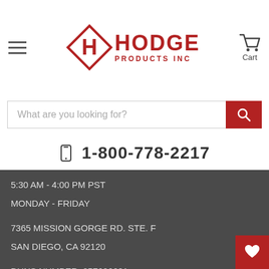Hodge Products Inc — Navigation header with hamburger menu, logo, and cart
What are you looking for?
1-800-778-2217
5:30 AM - 4:00 PM PST
MONDAY - FRIDAY
7365 MISSION GORGE RD. STE. F
SAN DIEGO, CA 92120
DUNS NUMBER: 057696601
CAGE: 057D9